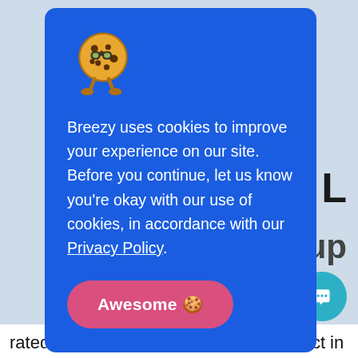[Figure (screenshot): Background website content partially visible behind cookie consent modal. Shows partial text 'NAL', 'agup', a chat bubble icon, and bottom text 'rated HR and Applicant Tracking product in'.]
[Figure (illustration): Cookie mascot illustration: a round cookie character with black spots, wearing glasses, with small legs.]
Breezy uses cookies to improve your experience on our site. Before you continue, let us know you're okay with our use of cookies, in accordance with our Privacy Policy.
Awesome 🍪